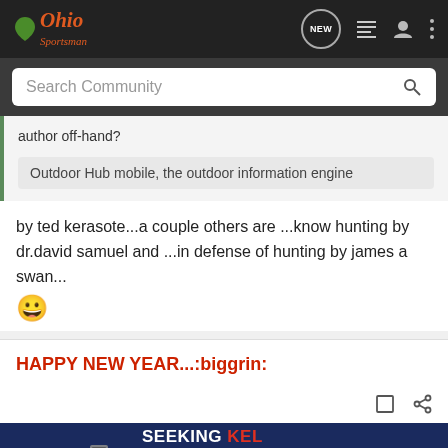Ohio Sportsman
Search Community
author off-hand?
Outdoor Hub mobile, the outdoor information engine
by ted kerasote...a couple others are ...know hunting by dr.david samuel and ...in defense of hunting by james a swan... 😀
HAPPY NEW YEAR...:biggrin:
[Figure (photo): Kel-Tec CP33 pistol advertisement banner: 'SEEKING LONG RANGE RELATIONSHIP – THE CP33 PISTOL' with image of a handgun on dark blue background]